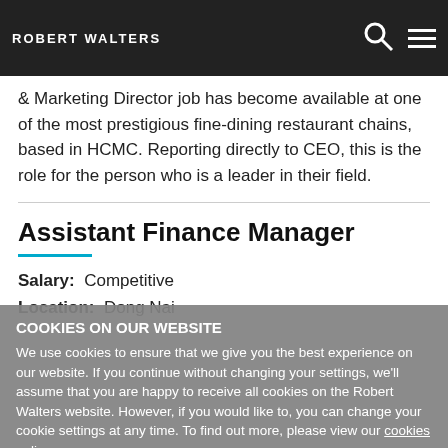ROBERT WALTERS
& Marketing Director job has become available at one of the most prestigious fine-dining restaurant chains, based in HCMC. Reporting directly to CEO, this is the role for the person who is a leader in their field.
Assistant Finance Manager
Salary: Competitive
Location: Dong Nai
COOKIES ON OUR WEBSITE
We use cookies to ensure that we give you the best experience on our website. If you continue without changing your settings, we'll assume that you are happy to receive all cookies on the Robert Walters website. However, if you would like to, you can change your cookie settings at any time. To find out more, please view our cookies policy.
Ok, I agree | No, give me more information